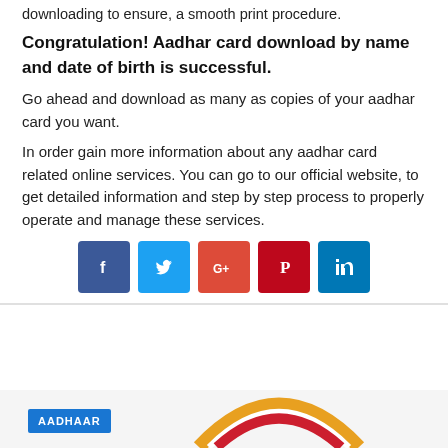downloading to ensure, a smooth print procedure.
Congratulation! Aadhar card download by name and date of birth is successful.
Go ahead and download as many as copies of your aadhar card you want.
In order gain more information about any aadhar card related online services. You can go to our official website, to get detailed information and step by step process to properly operate and manage these services.
[Figure (infographic): Row of 5 social sharing buttons: Facebook (blue), Twitter (light blue), Google+ (red-orange), Pinterest (red), LinkedIn (blue)]
[Figure (infographic): Aadhaar banner with blue AADHAAR label tag and colorful logo arc in red, white, orange/yellow]